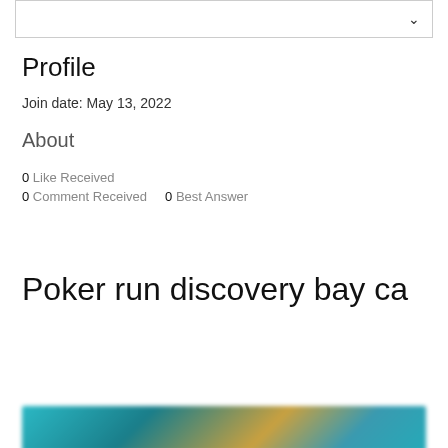Profile
Join date: May 13, 2022
About
0 Like Received
0 Comment Received    0 Best Answer
Poker run discovery bay ca
Poker run discovery bay ca
[Figure (photo): Blurred image, appears to show teal/aqua tones]